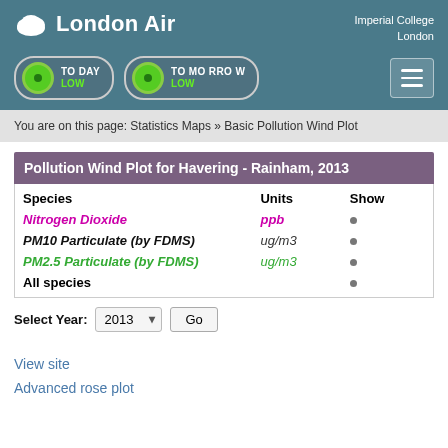London Air — Imperial College London
TODAY LOW | TOMORROW LOW
You are on this page: Statistics Maps » Basic Pollution Wind Plot
Pollution Wind Plot for Havering - Rainham, 2013
| Species | Units | Show |
| --- | --- | --- |
| Nitrogen Dioxide | ppb | • |
| PM10 Particulate (by FDMS) | ug/m3 | • |
| PM2.5 Particulate (by FDMS) | ug/m3 | • |
| All species |  | • |
Select Year: 2013  Go
View site
Advanced rose plot